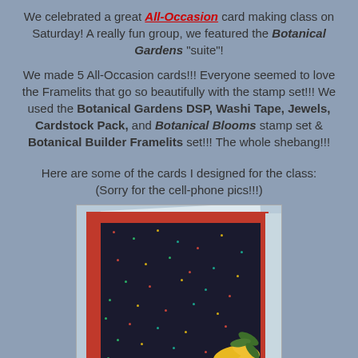We celebrated a great All-Occasion card making class on Saturday! A really fun group, we featured the Botanical Gardens "suite"!
We made 5 All-Occasion cards!!! Everyone seemed to love the Framelits that go so beautifully with the stamp set!!! We used the Botanical Gardens DSP, Washi Tape, Jewels, Cardstock Pack, and Botanical Blooms stamp set & Botanical Builder Framelits set!!! The whole shebang!!!
Here are some of the cards I designed for the class: (Sorry for the cell-phone pics!!!)
[Figure (photo): A handmade card featuring dark navy/black designer series paper with scattered small colorful dots/stars in red, teal, yellow, and green. The card has a red/rust mat border. In the bottom right corner are yellow and green botanical die-cut leaf and flower shapes (Botanical Builder Framelits). The card is photographed at a slight angle on a light blue/white background.]